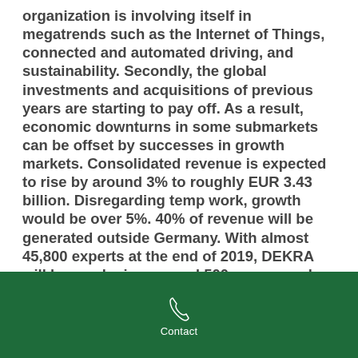organization is involving itself in megatrends such as the Internet of Things, connected and automated driving, and sustainability. Secondly, the global investments and acquisitions of previous years are starting to pay off. As a result, economic downturns in some submarkets can be offset by successes in growth markets. Consolidated revenue is expected to rise by around 3% to roughly EUR 3.43 billion. Disregarding temp work, growth would be over 5%. 40% of revenue will be generated outside Germany. With almost 45,800 experts at the end of 2019, DEKRA will be employing around 500 more people than in 2018. The company has further consolidated its standing as the world's leading unlisted expert organization in the TIC industry.
Contact